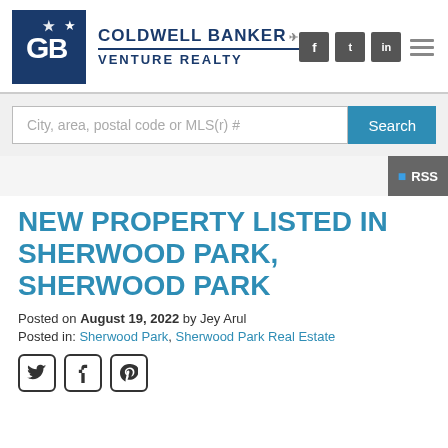[Figure (logo): Coldwell Banker Venture Realty logo with dark blue square CB logo mark and social icons (Facebook, Twitter, LinkedIn) and hamburger menu icon]
City, area, postal code or MLS(r) #
Search
RSS
NEW PROPERTY LISTED IN SHERWOOD PARK, SHERWOOD PARK
Posted on August 19, 2022 by Jey Arul
Posted in: Sherwood Park, Sherwood Park Real Estate
[Figure (illustration): Social share icons: Twitter bird, Facebook f, Pinterest p]